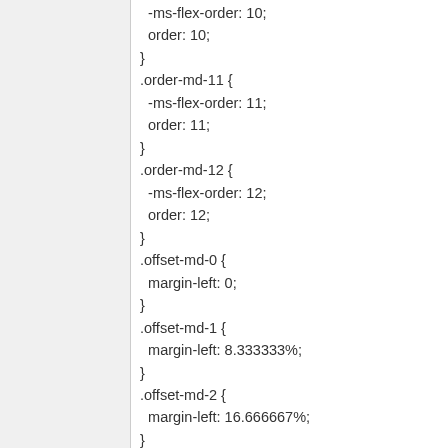-ms-flex-order: 10;
  order: 10;
}
.order-md-11 {
  -ms-flex-order: 11;
  order: 11;
}
.order-md-12 {
  -ms-flex-order: 12;
  order: 12;
}
.offset-md-0 {
  margin-left: 0;
}
.offset-md-1 {
  margin-left: 8.333333%;
}
.offset-md-2 {
  margin-left: 16.666667%;
}
.offset-md-3 {
  margin-left: 25%;
}